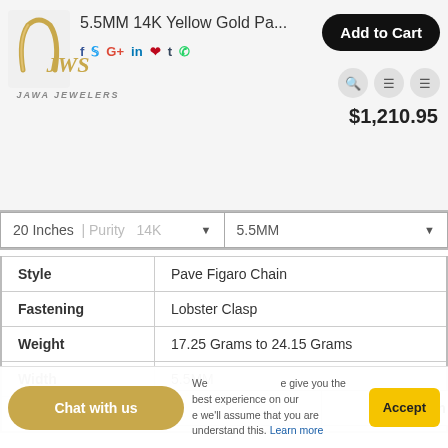5.5MM 14K Yellow Gold Pa...
$1,210.95
20 Inches | Purity | 14K ▾  |  5.5MM ▾
|  |  |
| --- | --- |
| Style | Pave Figaro Chain |
| Fastening | Lobster Clasp |
| Weight | 17.25 Grams to 24.15 Grams |
| Width | 5.5MM |
| Length | 20 Inch - 28 Inch |
| ...gth | Weight |
| --- | --- |
Chat with us
We use cookies to give you the best experience on our website. If you continue we'll assume that you are understand this. Learn more
Accept